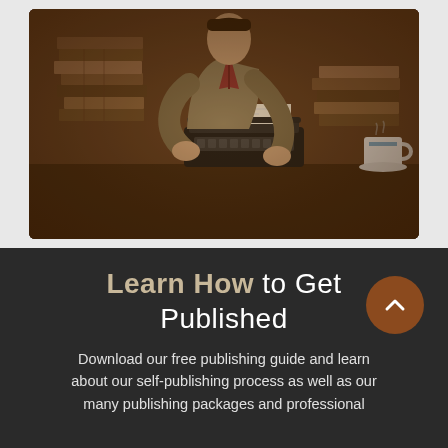[Figure (photo): A person at a desk with a typewriter, surrounded by stacked books, wearing a cardigan and plaid shirt, with a coffee cup to the right. Warm vintage tones.]
Learn How to Get Published
Download our free publishing guide and learn about our self-publishing process as well as our many publishing packages and professional